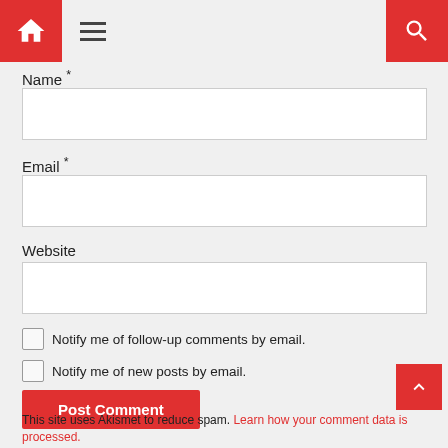Home menu search
Name *
Email *
Website
Notify me of follow-up comments by email.
Notify me of new posts by email.
Post Comment
This site uses Akismet to reduce spam. Learn how your comment data is processed.